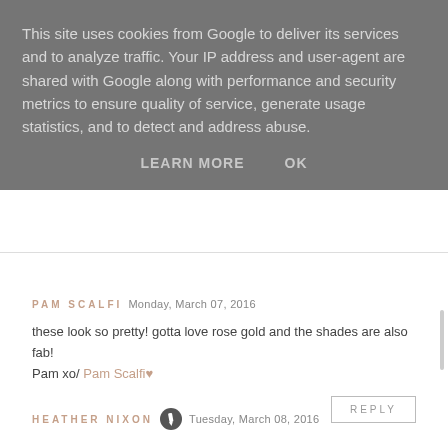This site uses cookies from Google to deliver its services and to analyze traffic. Your IP address and user-agent are shared with Google along with performance and security metrics to ensure quality of service, generate usage statistics, and to detect and address abuse.
LEARN MORE   OK
PAM SCALFI   Monday, March 07, 2016
these look so pretty! gotta love rose gold and the shades are also fab!
Pam xo/ Pam Scalfi♥
REPLY
HEATHER NIXON   Tuesday, March 08, 2016